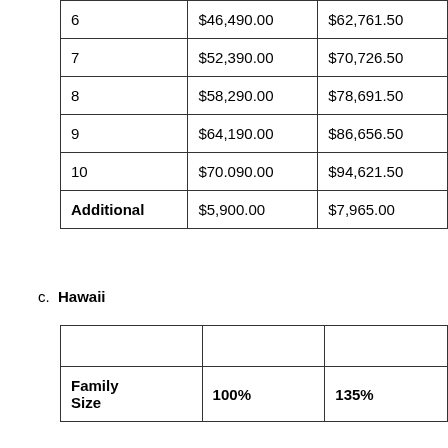|  |  |  |
| --- | --- | --- |
| 6 | $46,490.00 | $62,761.50 |
| 7 | $52,390.00 | $70,726.50 |
| 8 | $58,290.00 | $78,691.50 |
| 9 | $64,190.00 | $86,656.50 |
| 10 | $70.090.00 | $94,621.50 |
| Additional | $5,900.00 | $7,965.00 |
c.  Hawaii
| Family Size | 100% | 135% |
| --- | --- | --- |